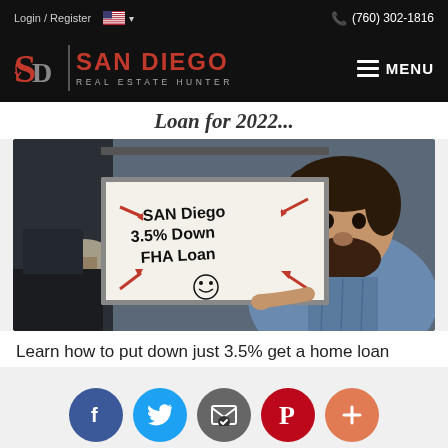Login / Register | (760) 302-1816
[Figure (logo): San Diego Real Estate Hunter logo with SD monogram in red, vertical divider, and SAN DIEGO REAL ESTATE HUNTER text in red and grey on black background. MENU button with hamburger icon on right.]
Loan for 2022...
[Figure (photo): Man in blue plaid shirt holding a whiteboard that reads 'San Diego 3.5% Down FHA Loan' with red arrows pointing to text and a smiley face. Office setting background.]
Learn how to put down just 3.5% get a home loan
[Figure (infographic): Social sharing buttons row: Facebook (blue), Twitter (light blue), Email (grey), Pinterest (red), More/Plus (orange-red)]